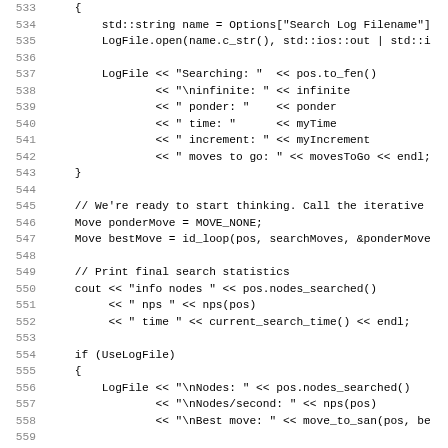[Figure (other): C++ source code listing showing lines 533-564, implementing a chess engine search function with file logging, iterative deepening loop call, and search statistics output.]